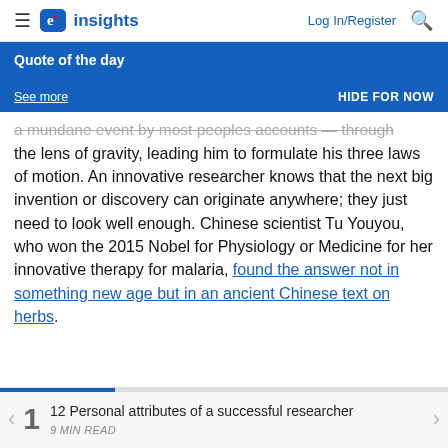e. insights | Log In/Register
Quote of the day
See more
HIDE FOR NOW
a mundane event by most peoples accounts — through the lens of gravity, leading him to formulate his three laws of motion. An innovative researcher knows that the next big invention or discovery can originate anywhere; they just need to look well enough. Chinese scientist Tu Youyou, who won the 2015 Nobel for Physiology or Medicine for her innovative therapy for malaria, found the answer not in something new age but in an ancient Chinese text on herbs.
1  12 Personal attributes of a successful researcher
9 MIN READ